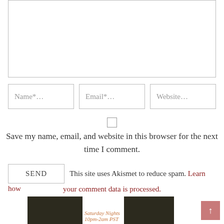[Figure (screenshot): Empty textarea input box for comment]
Name*...
Email*...
Website...
[Figure (other): Checkbox (unchecked square)]
Save my name, email, and website in this browser for the next time I comment.
SEND  This site uses Akismet to reduce spam. Learn how your comment data is processed.
[Figure (photo): Bottom banner image with dark silhouettes and text: Saturday Nights 10pm-2am PST]